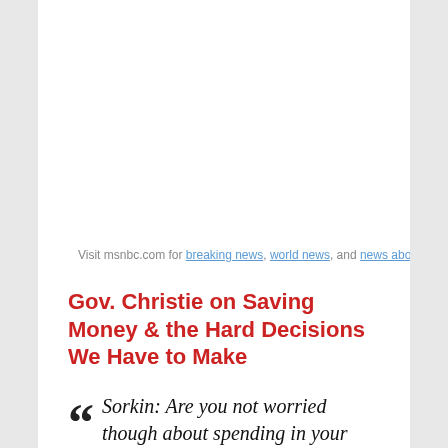Visit msnbc.com for breaking news, world news, and news about the economy
Gov. Christie on Saving Money & the Hard Decisions We Have to Make
“Sorkin: Are you not worried though about spending in your state in terms of those teachers who are actually going to be taking these cuts, whether they